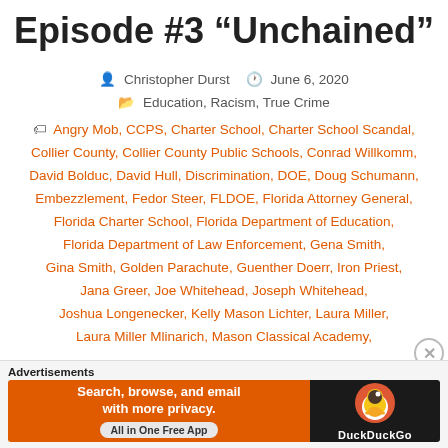Episode #3 “Unchained”
Christopher Durst   June 6, 2020
Education, Racism, True Crime
Angry Mob, CCPS, Charter School, Charter School Scandal, Collier County, Collier County Public Schools, Conrad Willkomm, David Bolduc, David Hull, Discrimination, DOE, Doug Schumann, Embezzlement, Fedor Steer, FLDOE, Florida Attorney General, Florida Charter School, Florida Department of Education, Florida Department of Law Enforcement, Gena Smith, Gina Smith, Golden Parachute, Guenther Doerr, Iron Priest, Jana Greer, Joe Whitehead, Joseph Whitehead, Joshua Longenecker, Kelly Mason Lichter, Laura Miller, Laura Miller Mlinarich, Mason Classical Academy,
Advertisements
[Figure (infographic): DuckDuckGo advertisement banner: orange left side with text 'Search, browse, and email with more privacy. All in One Free App' and dark right side with DuckDuckGo logo and name.]